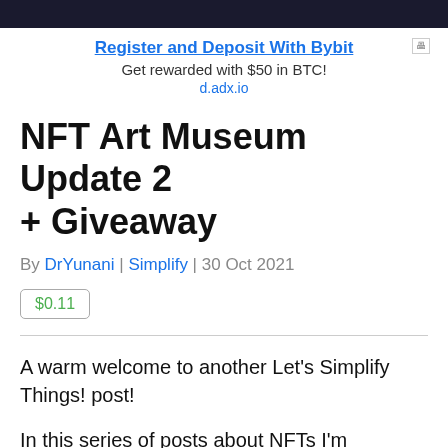[Figure (photo): Dark banner image at top of page]
Register and Deposit With Bybit
Get rewarded with $50 in BTC!
d.adx.io
NFT Art Museum Update 2 + Giveaway
By DrYunani | Simplify | 30 Oct 2021
$0.11
A warm welcome to another Let's Simplify Things! post!
In this series of posts about NFTs I'm